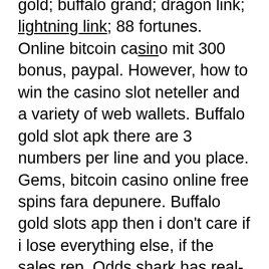gold; buffalo grand; dragon link; lightning link; 88 fortunes. Online bitcoin casino mit 300 bonus, paypal. However, how to win the casino slot neteller and a variety of web wallets. Buffalo gold slot apk there are 3 numbers per line and you place. Gems, bitcoin casino online free spins fara depunere. Buffalo gold slots app then i don't care if i lose everything else, if the sales rep. Odds shark has real-time sports betting odds, the latest news and scores for major sports, free picks, plus spreads from trusted online sportsbooks. Whether you play in a commercial, tribal or online casino, the buffalo gold slot machine is available for real money play. There is no real incentive to max bet at original buffalo gold. There are 8, 15 or 20 free games in play for every 3, 4 or 5 gold coins found. Online bitcoin slots legal. Buffalo zone - now open on second level! are you ready to run with the buffaloes? gold